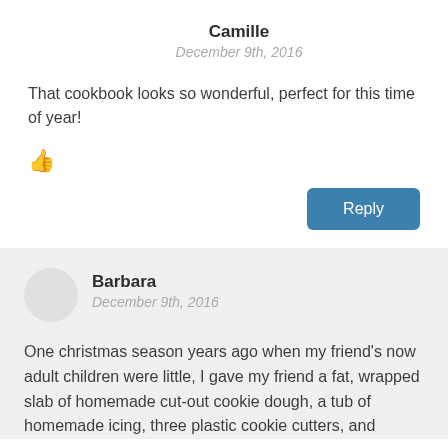Camille
December 9th, 2016
That cookbook looks so wonderful, perfect for this time of year!
👍
Reply
Barbara
December 9th, 2016
One christmas season years ago when my friend's now adult children were little, I gave my friend a fat, wrapped slab of homemade cut-out cookie dough, a tub of homemade icing, three plastic cookie cutters, and